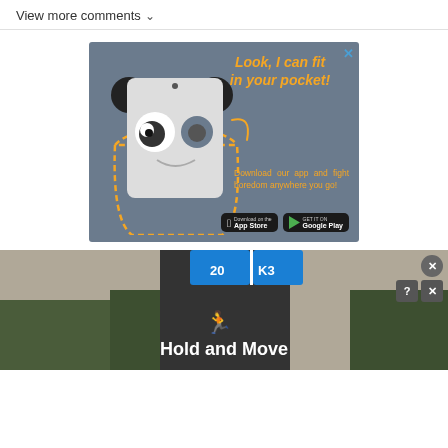View more comments ∨
[Figure (illustration): Advertisement banner showing a cartoon panda mascot peeking out of a shirt pocket on a grey-blue background. Text reads: 'Look, I can fit in your pocket!' and 'Download our app and fight boredom anywhere you go!' with App Store and Google Play buttons.]
[Figure (screenshot): Bottom advertisement banner showing 'Hold and Move' app with trees and road background, with close and help buttons.]